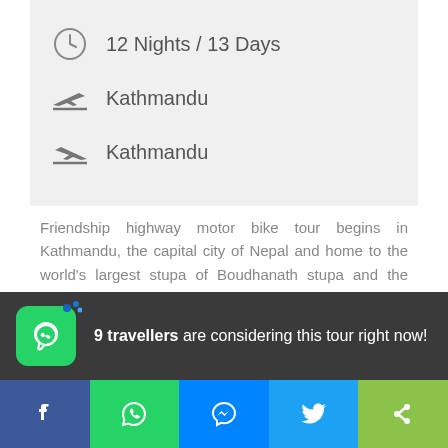12 Nights / 13 Days
Kathmandu (departure)
Kathmandu (arrival)
Friendship highway motor bike tour begins in Kathmandu, the capital city of Nepal and home to the world's largest stupa of Boudhanath stupa and the great Himalayan Mountains
9 travellers are considering this tour right now!